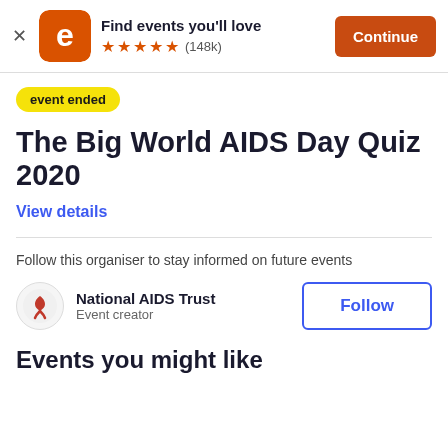[Figure (screenshot): Eventbrite app banner with orange rounded square logo containing white 'e', title 'Find events you'll love', five orange stars, review count (148k), and orange 'Continue' button]
event ended
The Big World AIDS Day Quiz 2020
View details
Follow this organiser to stay informed on future events
National AIDS Trust
Event creator
Follow
Events you might like